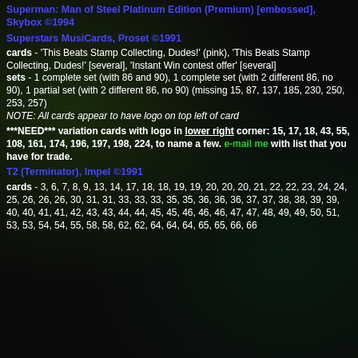Superman: Man of Steel Platinum Edition (Premium) [embossed], Skybox ©1994
Superstars MusiCards, Proset ©1991
cards - 'This Beats Stamp Collecting, Dudes!' (pink), 'This Beats Stamp Collecting, Dudes!' [several], 'Instant Win contest offer' [several]
sets - 1 complete set (with 86 and 90), 1 complete set (with 2 different 86, no 90), 1 partial set (with 2 different 86, no 90) (missing 15, 87, 137, 185, 230, 250, 253, 257)
NOTE: All cards appear to have logo on top left of card
***NEED*** variation cards with logo in lower right corner: 15, 17, 18, 43, 55, 108, 161, 174, 196, 197, 198, 224, to name a few. e-mail me with list that you have for trade.
T2 (Terminator), Impel ©1991
cards - 3, 6, 7, 8, 9, 13, 14, 17, 18, 18, 19, 19, 20, 20, 20, 21, 22, 22, 23, 24, 24, 25, 26, 26, 26, 30, 31, 31, 33, 33, 33, 35, 35, 36, 36, 36, 37, 37, 38, 38, 39, 39, 40, 40, 41, 41, 42, 43, 43, 44, 44, 45, 45, 46, 46, 46, 47, 47, 48, 49, 49, 50, 51, 53, 53, 54, 54, 55, 58, 58, 62, 62, 64, 64, 64, 65, 65, 66, 66